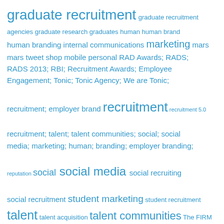[Figure (infographic): Tag cloud with recruitment and social media related terms in various sizes, all in blue color. Larger terms include: graduate recruitment, marketing, recruitment, social media, talent, talent communities. Medium terms include: human branding, internal communications, mars, mobile, personal, RAD Awards, RADS, RADS 2013, RBI, Recruitment Awards, Employee Engagement, Tonic, Tonic Agency, We are Tonic, recruitment; employer brand, recruitment 5.0, recruitment; talent; talent communities; social; social media; marketing; human; branding; employer branding, social, social recruiting, social recruitment, student marketing, talent acquisition, The FIRM, tonic, tonic-agency. Smaller terms include: graduate recruitment agencies, graduate research, graduates, human, human brand, reputation, student recruitment.]